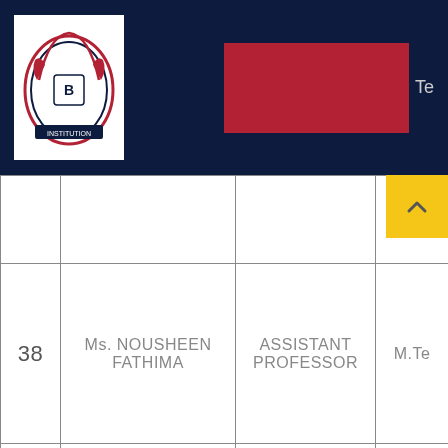Institution header with logo and red banner
| # | Name | Designation | Qualification |
| --- | --- | --- | --- |
|  |  |  |  |
| 38 | Ms. NOUSHEEN FATHIMA | ASSISTANT PROFESSOR | M.Te |
| 39 | Mr. BODDUPALLI NARESH | ASSISTANT PROFESSOR | M.Te |